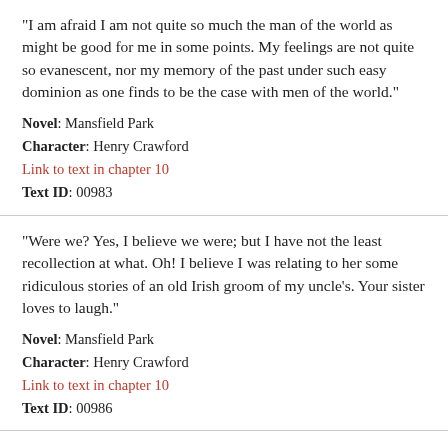"I am afraid I am not quite so much the man of the world as might be good for me in some points. My feelings are not quite so evanescent, nor my memory of the past under such easy dominion as one finds to be the case with men of the world."
Novel: Mansfield Park
Character: Henry Crawford
Link to text in chapter 10
Text ID: 00983
"Were we? Yes, I believe we were; but I have not the least recollection at what. Oh! I believe I was relating to her some ridiculous stories of an old Irish groom of my uncle's. Your sister loves to laugh."
Novel: Mansfield Park
Character: Henry Crawford
Link to text in chapter 10
Text ID: 00986
"More easily amused,"
Novel: Mansfield Park
Character: Henry Crawford